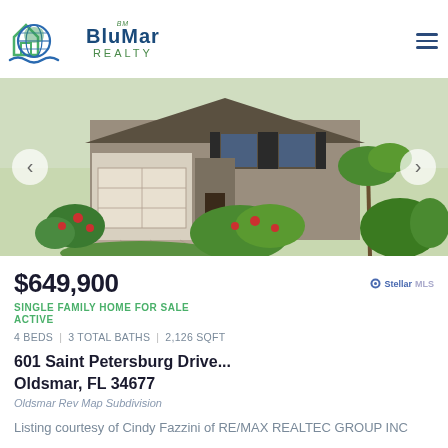[Figure (logo): BluMar Realty logo with globe and house icon, green and blue colors]
[Figure (photo): Exterior photo of a single family home with lush landscaping, palm trees, paver driveway, garage, and tropical plants]
$649,900
SINGLE FAMILY HOME FOR SALE
ACTIVE
4 BEDS | 3 TOTAL BATHS | 2,126 SQFT
601 Saint Petersburg Drive...
Oldsmar, FL 34677
Oldsmar Rev Map Subdivision
Listing courtesy of Cindy Fazzini of RE/MAX REALTEC GROUP INC